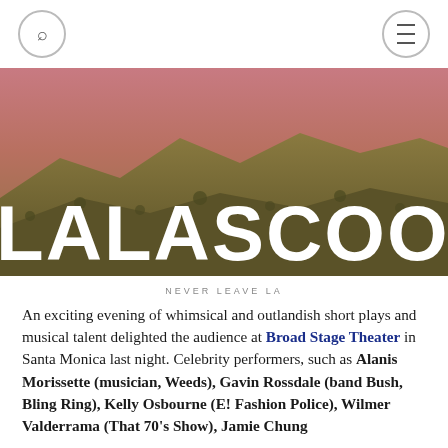Search | Menu
[Figure (photo): Banner image of hills resembling the Hollywood sign landscape with 'LALASCOOP' written in large white block letters, against a pink/mauve sky]
NEVER LEAVE LA
An exciting evening of whimsical and outlandish short plays and musical talent delighted the audience at Broad Stage Theater in Santa Monica last night. Celebrity performers, such as Alanis Morissette (musician, Weeds), Gavin Rossdale (band Bush, Bling Ring), Kelly Osbourne (E! Fashion Police), Wilmer Valderrama (That 70's Show), Jamie Chung